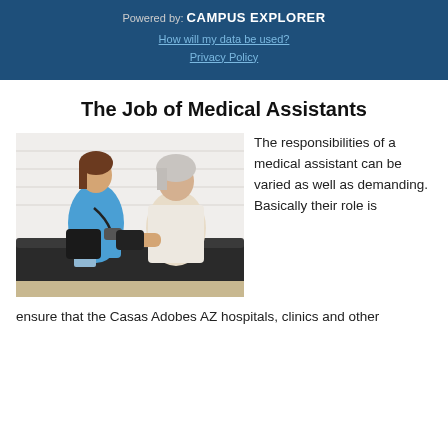Powered by: CAMPUS EXPLORER
How will my data be used?
Privacy Policy
The Job of Medical Assistants
[Figure (photo): A young female medical assistant in blue scrubs taking blood pressure of an elderly white-haired woman seated on a dark couch, in a room with white brick walls.]
The responsibilities of a medical assistant can be varied as well as demanding. Basically their role is ensure that the Casas Adobes AZ hospitals, clinics and other